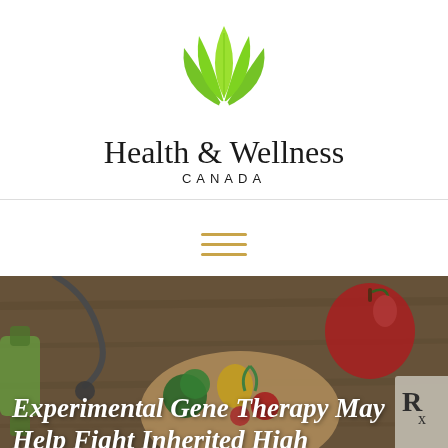[Figure (logo): Health & Wellness Canada logo with green lotus/leaf plant icon above the brand name]
Health & Wellness
CANADA
[Figure (other): Hamburger menu icon with three horizontal golden/tan lines]
[Figure (photo): Background photo of healthy food including vegetables in a heart-shaped bowl, an apple, stethoscope, dumbbells, and an Rx prescription pad on a wooden table]
Experimental Gene Therapy May Help Fight Inherited High